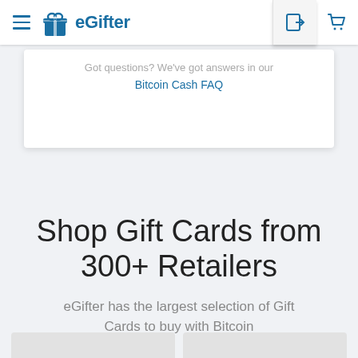eGifter
Got questions? We've got answers in our Bitcoin Cash FAQ
Shop Gift Cards from 300+ Retailers
eGifter has the largest selection of Gift Cards to buy with Bitcoin